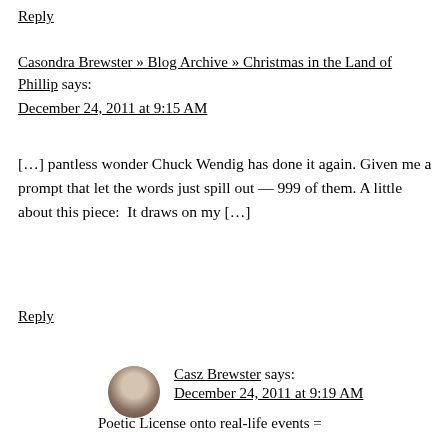Reply
Casondra Brewster » Blog Archive » Christmas in the Land of Phillip says:
December 24, 2011 at 9:15 AM
[…] pantless wonder Chuck Wendig has done it again. Given me a prompt that let the words just spill out — 999 of them. A little about this piece:  It draws on my […]
Reply
Casz Brewster says:
December 24, 2011 at 9:19 AM
Poetic License onto real-life events =